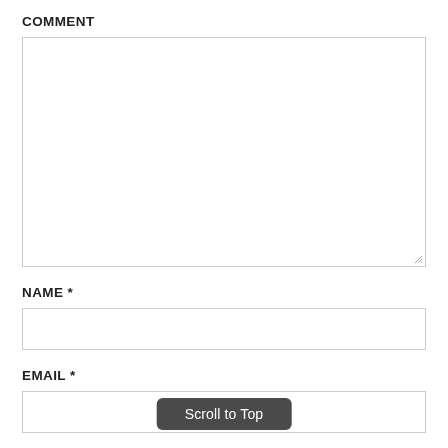COMMENT
[Figure (screenshot): Empty comment textarea input box with resize handle at bottom right]
NAME *
[Figure (screenshot): Empty name text input field]
EMAIL *
[Figure (screenshot): Empty email text input field with Scroll to Top button overlaid]